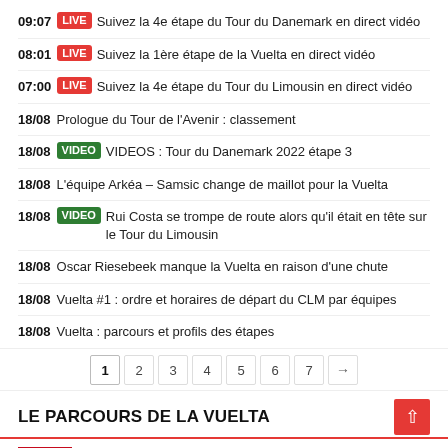09:07 LIVE Suivez la 4e étape du Tour du Danemark en direct vidéo
08:01 LIVE Suivez la 1ère étape de la Vuelta en direct vidéo
07:00 LIVE Suivez la 4e étape du Tour du Limousin en direct vidéo
18/08 Prologue du Tour de l'Avenir : classement
18/08 VIDEO VIDEOS : Tour du Danemark 2022 étape 3
18/08 L'équipe Arkéa – Samsic change de maillot pour la Vuelta
18/08 VIDEO Rui Costa se trompe de route alors qu'il était en tête sur le Tour du Limousin
18/08 Oscar Riesebeek manque la Vuelta en raison d'une chute
18/08 Vuelta #1 : ordre et horaires de départ du CLM par équipes
18/08 Vuelta : parcours et profils des étapes
1 2 3 4 5 6 7 →
LE PARCOURS DE LA VUELTA
Vuelta – Tour d'Espagne 2022 : parcours et